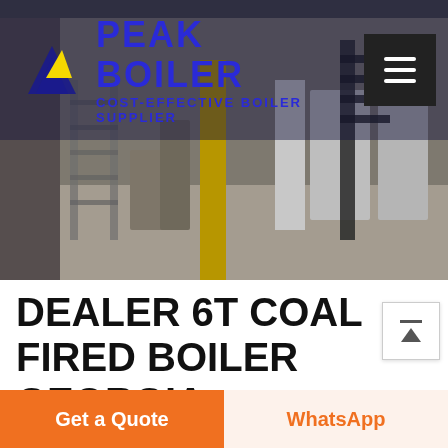[Figure (photo): Industrial boiler facility interior with equipment, ladders, yellow pillars, and white cabinets]
PEAK BOILER COST-EFFECTIVE BOILER SUPPLIER
DEALER 6T COAL FIRED BOILER GEORGIA
Dealer Condensing Boiler 6t Georgia. Dealer 6t Commercial Boiler Azerbaijan. biomass fired condensing boiler dealer. Related Information. 2 ton steam boiler price oil gas steam boiler Liming · A steam locomotive is a type of railway locomotive that produces its pulling power through a steam engine.These locomotives are fueled by burning combustible
Get a Quote
WhatsApp